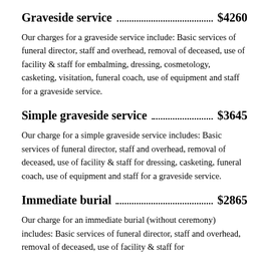Graveside service  $4260
Our charges for a graveside service include: Basic services of funeral director, staff and overhead, removal of deceased, use of facility & staff for embalming, dressing, cosmetology, casketing, visitation, funeral coach, use of equipment and staff for a graveside service.
Simple graveside service  $3645
Our charge for a simple graveside service includes: Basic services of funeral director, staff and overhead, removal of deceased, use of facility & staff for dressing, casketing, funeral coach, use of equipment and staff for a graveside service.
Immediate burial  $2865
Our charge for an immediate burial (without ceremony) includes: Basic services of funeral director, staff and overhead, removal of deceased, use of facility & staff for dressing, casketing, transportation. This